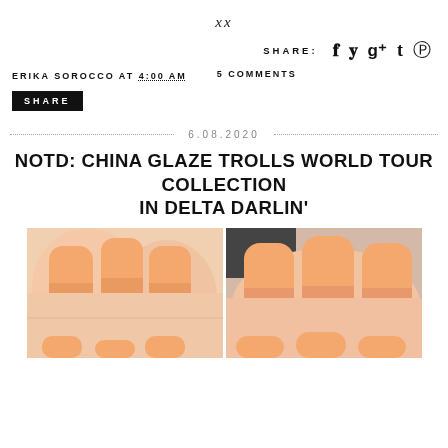xx
SHARE: f t g+ t p
ERIKA SOROCCO AT 4:00 AM   5 COMMENTS
SHARE
6.08.2020
NOTD: CHINA GLAZE TROLLS WORLD TOUR COLLECTION IN DELTA DARLIN'
[Figure (photo): Two side-by-side close-up photos of fingernails painted in a light peach/orange nail polish color]